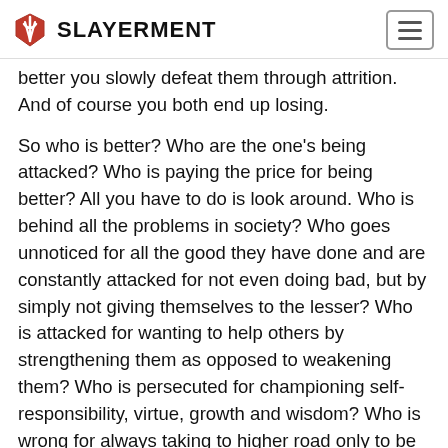Slayerment
better you slowly defeat them through attrition. And of course you both end up losing.
So who is better? Who are the one's being attacked? Who is paying the price for being better? All you have to do is look around. Who is behind all the problems in society? Who goes unnoticed for all the good they have done and are constantly attacked for not even doing bad, but by simply not giving themselves to the lesser? Who is attacked for wanting to help others by strengthening them as opposed to weakening them? Who is persecuted for championing self-responsibility, virtue, growth and wisdom? Who is wrong for always taking to higher road only to be